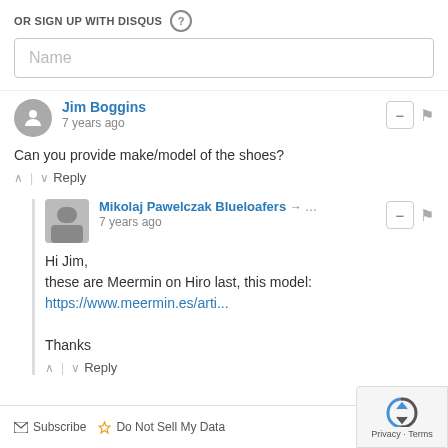OR SIGN UP WITH DISQUS ?
Name
Jim Boggins • 7 years ago
Can you provide make/model of the shoes?
^ | v Reply
Mikolaj Pawelczak Blueloafers → ... • 7 years ago
Hi Jim,
these are Meermin on Hiro last, this model:
https://www.meermin.es/arti...

Thanks
^ | v Reply
Subscribe  Do Not Sell My Data  DISQ  Privacy · Terms